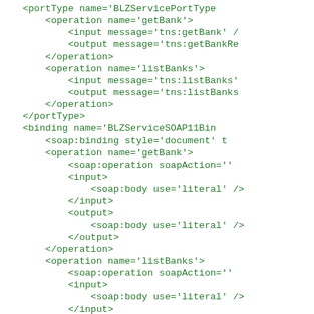<portType name='BLZServicePortType...
    <operation name='getBank'>
        <input message='tns:getBank' /
        <output message='tns:getBankRe
    </operation>
    <operation name='listBanks'>
        <input message='tns:listBanks'
        <output message='tns:listBanks
    </operation>
</portType>
<binding name='BLZServiceSOAP11Bin
    <soap:binding style='document' t
    <operation name='getBank'>
        <soap:operation soapAction=''
        <input>
            <soap:body use='literal' />
        </input>
        <output>
            <soap:body use='literal' />
        </output>
    </operation>
    <operation name='listBanks'>
        <soap:operation soapAction=''
        <input>
            <soap:body use='literal' />
        </input>
        <output>
            <soap:body use='literal' />
        </output>
    </operation>
</binding>
<binding name='BLZServiceSOAP12Bin